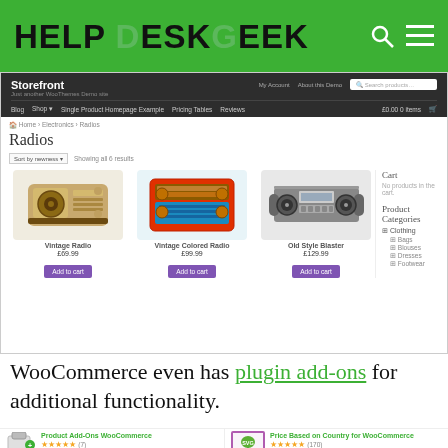[Figure (screenshot): Help Desk Geek website header with green background, logo 'HELP DESK GEEK', search icon and menu icon]
[Figure (screenshot): WooCommerce Storefront theme screenshot showing a Radios category page with three radio products: Vintage Radio £69.99, Vintage Colored Radio £99.99, Old Style Blaster £129.99, each with Add to cart buttons. Sidebar shows Cart (No products in the cart) and Product Categories (Clothing, Bags, Blouses, Dresses, Footwear)]
WooCommerce even has plugin add-ons for additional functionality.
[Figure (screenshot): Two WooCommerce plugin add-on cards: 'Product Add-Ons WooCommerce' with 5-star rating (7 reviews) and 'Price Based on Country for WooCommerce' with 5-star rating (170 reviews)]